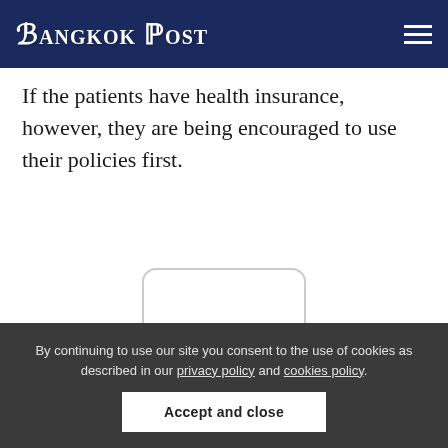Bangkok Post
If the patients have health insurance, however, they are being encouraged to use their policies first.
[Figure (other): Advertisement placeholder box with 'ad' text]
By continuing to use our site you consent to the use of cookies as described in our privacy policy and cookies policy.
Accept and close